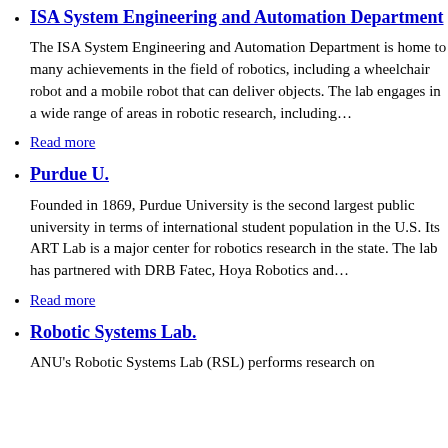ISA System Engineering and Automation Department
The ISA System Engineering and Automation Department is home to many achievements in the field of robotics, including a wheelchair robot and a mobile robot that can deliver objects. The lab engages in a wide range of areas in robotic research, including…
Read more
Purdue U.
Founded in 1869, Purdue University is the second largest public university in terms of international student population in the U.S. Its ART Lab is a major center for robotics research in the state. The lab has partnered with DRB Fatec, Hoya Robotics and…
Read more
Robotic Systems Lab.
ANU's Robotic Systems Lab (RSL) performs research on